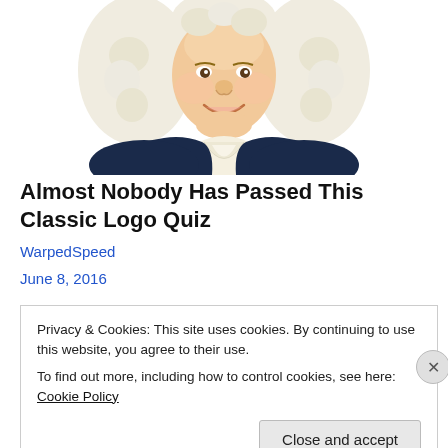[Figure (illustration): Illustrated caricature of a colonial-era gentleman with white powdered wig, wearing a dark navy blue coat with white ruffled cravat, smiling, shown from the shoulders up against a white background.]
Almost Nobody Has Passed This Classic Logo Quiz
WarpedSpeed
June 8, 2016
Privacy & Cookies: This site uses cookies. By continuing to use this website, you agree to their use.
To find out more, including how to control cookies, see here: Cookie Policy
Close and accept